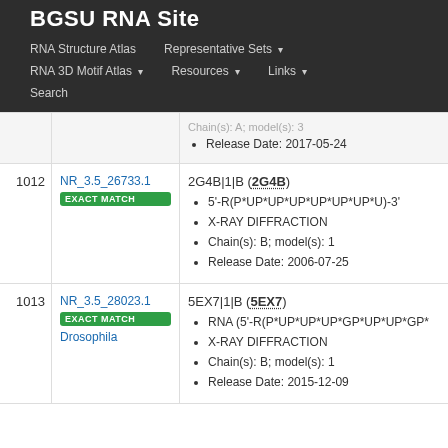BGSU RNA Site
RNA Structure Atlas | Representative Sets | RNA 3D Motif Atlas | Resources | Links | Search
| # | ID | Details |
| --- | --- | --- |
|  |  | Release Date: 2017-05-24 |
| 1012 | NR_3.5_26733.1 EXACT MATCH | 2G4B|1|B (2G4B)
5'-R(P*UP*UP*UP*UP*UP*UP*U)-3'
X-RAY DIFFRACTION
Chain(s): B; model(s): 1
Release Date: 2006-07-25 |
| 1013 | NR_3.5_28023.1 EXACT MATCH Drosophila | 5EX7|1|B (5EX7)
RNA (5'-R(P*UP*UP*UP*GP*UP*UP*GP*...
X-RAY DIFFRACTION
Chain(s): B; model(s): 1
Release Date: 2015-12-09 |